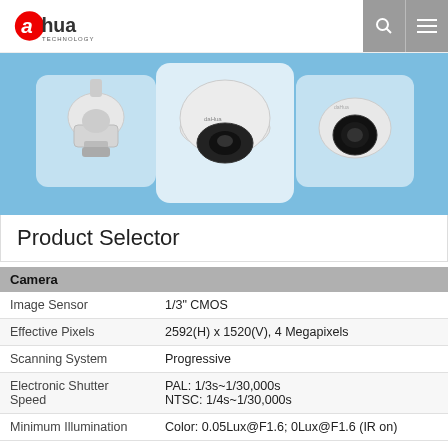alhua TECHNOLOGY
[Figure (photo): Dahua camera product selector hero banner showing three security cameras: a PTZ camera on the left, a fisheye/mini-dome camera in the center, and a dome camera on the right, on a blue background.]
Product Selector
| Camera |  |
| --- | --- |
| Image Sensor | 1/3" CMOS |
| Effective Pixels | 2592(H) x 1520(V), 4 Megapixels |
| Scanning System | Progressive |
| Electronic Shutter Speed | PAL: 1/3s~1/30,000s
NTSC: 1/4s~1/30,000s |
| Minimum Illumination | Color: 0.05Lux@F1.6; 0Lux@F1.6 (IR on) |